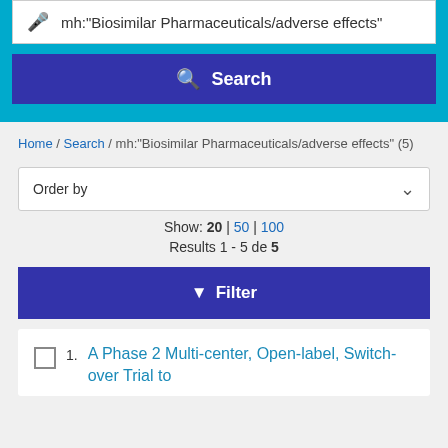mh:"Biosimilar Pharmaceuticals/adverse effects"
Search
Home / Search / mh:"Biosimilar Pharmaceuticals/adverse effects" (5)
Order by
Show: 20 | 50 | 100
Results 1 - 5 de 5
Filter
1. A Phase 2 Multi-center, Open-label, Switch-over Trial to